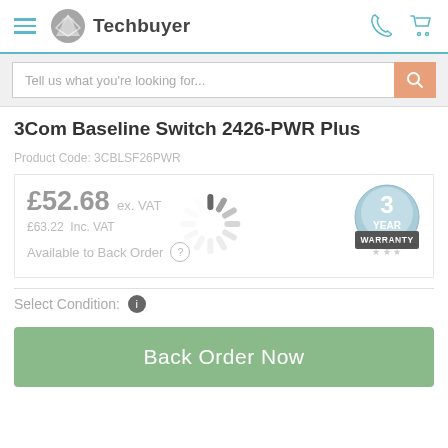[Figure (logo): Techbuyer logo with hamburger menu, phone icon, and cart icon in header]
Tell us what you're looking for...
3Com Baseline Switch 2426-PWR Plus
Product Code: 3CBLSF26PWR
£52.68 ex. VAT
£63.22 Inc. VAT
Available to Back Order
[Figure (illustration): Loading spinner graphic in gray]
[Figure (illustration): 3 Year Warranty badge/seal in blue and gray]
Select Condition:
Back Order Now